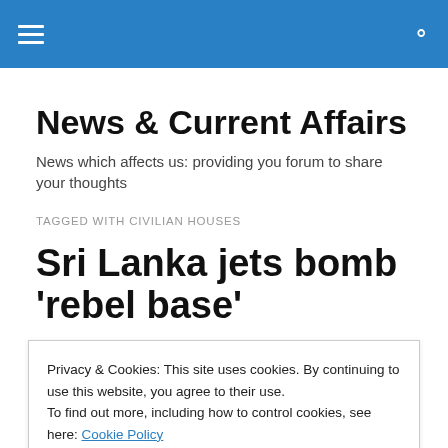☰ [menu] [search]
News & Current Affairs
News which affects us: providing you forum to share your thoughts
TAGGED WITH CIVILIAN HOUSES
Sri Lanka jets bomb 'rebel base'
Privacy & Cookies: This site uses cookies. By continuing to use this website, you agree to their use.
To find out more, including how to control cookies, see here: Cookie Policy
Close and accept
[Figure (photo): Partial blue-toned photograph visible at bottom of page, possibly showing an aircraft]